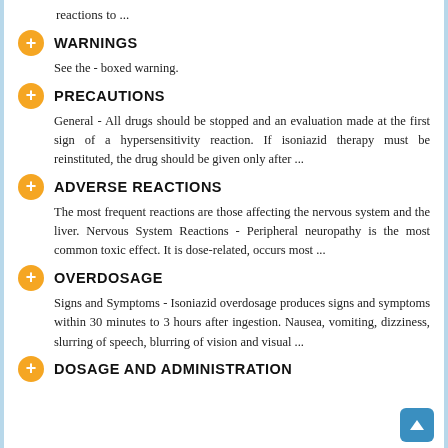reactions to ...
WARNINGS
See the - boxed warning.
PRECAUTIONS
General - All drugs should be stopped and an evaluation made at the first sign of a hypersensitivity reaction. If isoniazid therapy must be reinstituted, the drug should be given only after ...
ADVERSE REACTIONS
The most frequent reactions are those affecting the nervous system and the liver. Nervous System Reactions - Peripheral neuropathy is the most common toxic effect. It is dose-related, occurs most ...
OVERDOSAGE
Signs and Symptoms - Isoniazid overdosage produces signs and symptoms within 30 minutes to 3 hours after ingestion. Nausea, vomiting, dizziness, slurring of speech, blurring of vision and visual ...
DOSAGE AND ADMINISTRATION